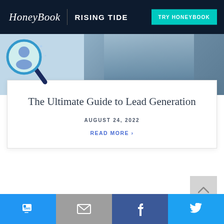HoneyBook | RISING TIDE — TRY HONEYBOOK
[Figure (illustration): Hero image with magnifier illustration showing a person icon inside a magnifying glass, and a background photo of a woman in a denim jacket]
The Ultimate Guide to Lead Generation
AUGUST 24, 2022
READ MORE ›
[Figure (infographic): Scroll-to-top button with an upward chevron arrow on gray background]
Social share buttons: SMS, Email, Facebook, Twitter